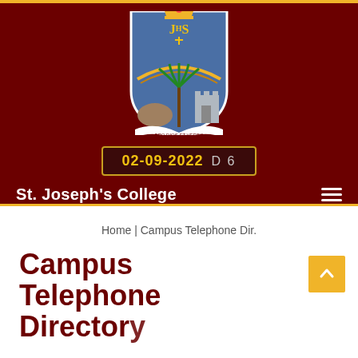[Figure (logo): St. Joseph's College crest/coat of arms with JHS monogram, palm tree, castle, and motto banner on dark red background]
02-09-2022  D 6
St. Joseph's College
Home | Campus Telephone Dir.
Campus Telephone Directory